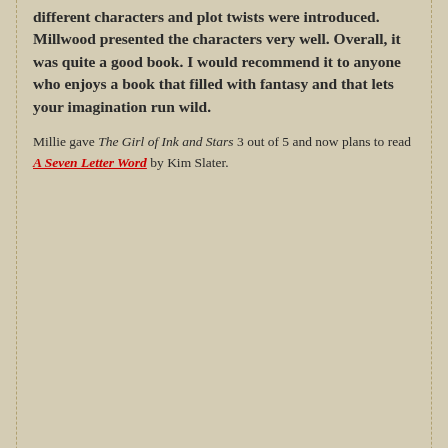different characters and plot twists were introduced. Millwood presented the characters very well. Overall, it was quite a good book. I would recommend it to anyone who enjoys a book that filled with fantasy and that lets your imagination run wild.
Millie gave The Girl of Ink and Stars 3 out of 5 and now plans to read A Seven Letter Word by Kim Slater.
LUCY from Royds :
[Figure (other): A dark speech-bubble/tag shape with the number 5 in gold/yellow, indicating a rating of 5 out of 5]
I loved this book! Out of the four that i have read for this 'challenge' so far, this one is my current favorite, with the variety of characters and multiple plot twists, I found this book very gripping and an ultimate page turner. I liked the overall concept and especially with the added amount of fantasy that